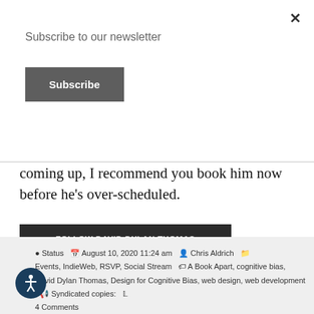Subscribe to our newsletter
Subscribe
coming up, I recommend you book him now before he’s over-scheduled.
FOLLOW DAVID DYLAN THOMAS
Status   August 10, 2020 11:24 am   Chris Aldrich   Events, IndieWeb, RSVP, Social Stream   A Book Apart, cognitive bias, David Dylan Thomas, Design for Cognitive Bias, web design, web development   Syndicated copies:   4 Comments